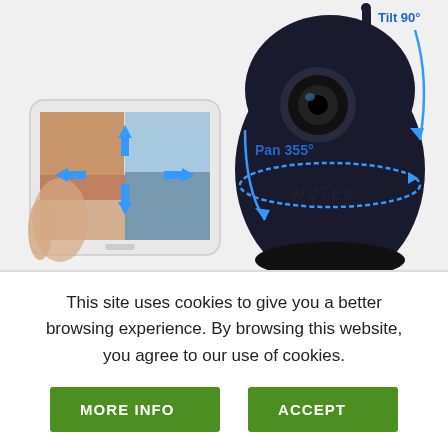[Figure (photo): Product image showing a black dome security camera (pan-tilt) with blue arrows indicating Pan 355° and Tilt 90° rotation range, alongside a smartphone showing a live camera feed view with directional arrows.]
This site uses cookies to give you a better browsing experience. By browsing this website, you agree to our use of cookies.
MORE INFO
ACCEPT